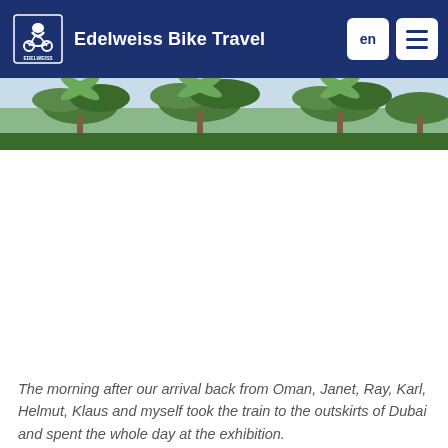Edelweiss Bike Travel
[Figure (photo): Partial photo strip showing palm trees against a light sky, cropped at top of view]
The morning after our arrival back from Oman, Janet, Ray, Karl, Helmut, Klaus and myself took the train to the outskirts of Dubai and spent the whole day at the exhibition.